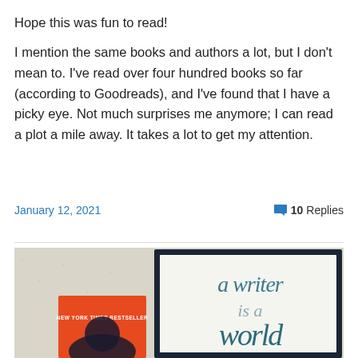Hope this was fun to read!
I mention the same books and authors a lot, but I don't mean to. I've read over four hundred books so far (according to Goodreads), and I've found that I have a picky eye. Not much surprises me anymore; I can read a plot a mile away. It takes a lot to get my attention.
January 12, 2021
10 Replies
[Figure (photo): A photo showing a book with an orange cover labeled 'NEW YORK TIMES BESTSELLER' alongside a framed print with calligraphy text reading 'a writer is a world', displayed against a white textured wall.]